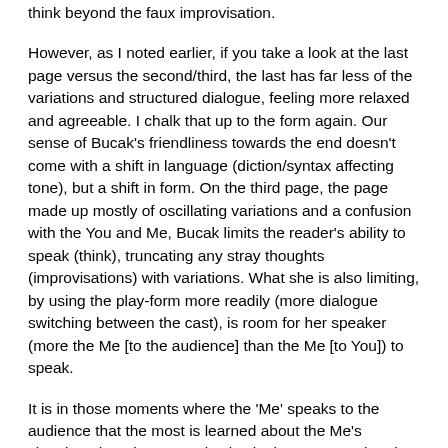think beyond the faux improvisation.
However, as I noted earlier, if you take a look at the last page versus the second/third, the last has far less of the variations and structured dialogue, feeling more relaxed and agreeable. I chalk that up to the form again. Our sense of Bucak's friendliness towards the end doesn't come with a shift in language (diction/syntax affecting tone), but a shift in form. On the third page, the page made up mostly of oscillating variations and a confusion with the You and Me, Bucak limits the reader's ability to speak (think), truncating any stray thoughts (improvisations) with variations. What she is also limiting, by using the play-form more readily (more dialogue switching between the cast), is room for her speaker (more the Me [to the audience] than the Me [to You]) to speak.
It is in those moments where the 'Me' speaks to the audience that the most is learned about the Me's situation, thoughts, etc. It is also in that moment that the reader is free from his/her 'You' role responsibilities to contemplate Bucak's divulgences. The more room Bucak gives her 'Me' to speak, the more room the reader has to think, and, oddly enough, talk about the way to explore the reader's own personal